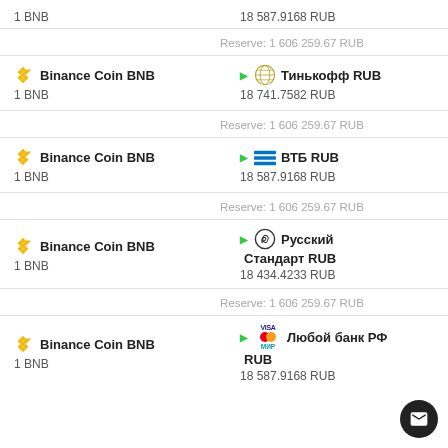1 BNB — 18 587.9168 RUB
Reserve: 1 606 259.67 RUB
Binance Coin BNB → Тинькофф RUB
1 BNB — 18 741.7582 RUB
Reserve: 1 606 259.67 RUB
Binance Coin BNB → ВТБ RUB
1 BNB — 18 587.9168 RUB
Reserve: 1 606 259.67 RUB
Binance Coin BNB → Русский Стандарт RUB
1 BNB — 18 434.4233 RUB
Reserve: 1 606 259.67 RUB
Binance Coin BNB → Любой банк РФ RUB
1 BNB — 18 587.9168 RUB